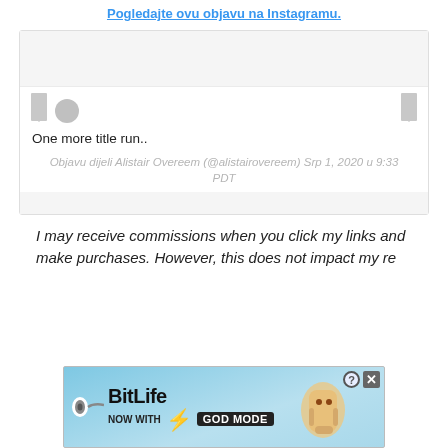Pogledajte ovu objavu na Instagramu.
[Figure (screenshot): Instagram embedded post placeholder with bookmark and circle icons, showing post caption 'One more title run..' and attribution 'Objavu dijeli Alistair Overeem (@alistairovereem) Srp 1, 2020 u 9:33 PDT']
One more title run..
Objavu dijeli Alistair Overeem (@alistairovereem) Srp 1, 2020 u 9:33 PDT
I may receive commissions when you click my links and make purchases. However, this does not impact my re[commendations. I always try to keep]ep
[Figure (screenshot): BitLife advertisement banner with 'NOW WITH GOD MODE' text and hand pointing graphic on light blue background]